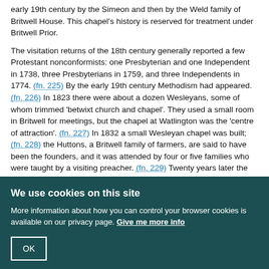early 19th century by the Simeon and then by the Weld family of Britwell House. This chapel's history is reserved for treatment under Britwell Prior.
The visitation returns of the 18th century generally reported a few Protestant nonconformists: one Presbyterian and one Independent in 1738, three Presbyterians in 1759, and three Independents in 1774. (fn. 225) By the early 19th century Methodism had appeared. (fn. 226) In 1823 there were about a dozen Wesleyans, some of whom trimmed 'betwixt church and chapel'. They used a small room in Britwell for meetings, but the chapel at Watlington was the 'centre of attraction'. (fn. 227) In 1832 a small Wesleyan chapel was built; (fn. 228) the Huttons, a Britwell family of farmers, are said to have been the founders, and it was attended by four or five families who were taught by a visiting preacher. (fn. 229) Twenty years later the rector estimated the nonconformists to be about a third of the parish. (fn. 230) The chapel survived until about 1935 but by 1951 was derelict. In 1956 it was sold. (fn. 231)
Schools.
Britwell Salome and Britwell Prior have always shared the same schools. There is no record of a school earlier than 1784. There was then one school
We use cookies on this site
More information about how you can control your browser cookies is available on our privacy page. Give me more info
OK